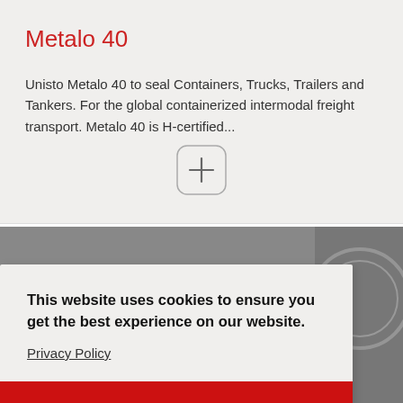Metalo 40
Unisto Metalo 40 to seal Containers, Trucks, Trailers and Tankers. For the global containerized intermodal freight transport. Metalo 40 is H-certified...
[Figure (other): Round plus button with rounded rectangle border]
[Figure (photo): Grayscale product photo of Metalo 40 seal]
This website uses cookies to ensure you get the best experience on our website.
Privacy Policy
OK